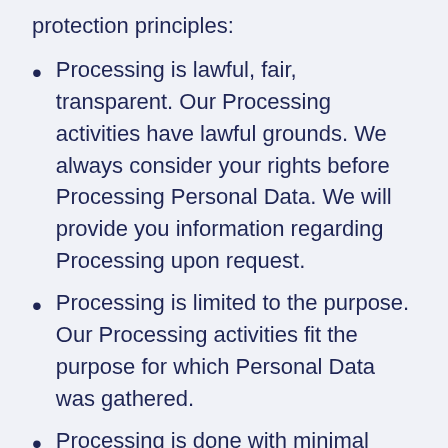protection principles:
Processing is lawful, fair, transparent. Our Processing activities have lawful grounds. We always consider your rights before Processing Personal Data. We will provide you information regarding Processing upon request.
Processing is limited to the purpose. Our Processing activities fit the purpose for which Personal Data was gathered.
Processing is done with minimal data. We only gather and Process the minimal amount